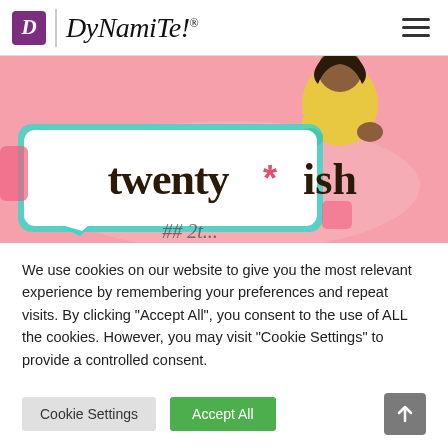DyNamiTe! (logo with hamburger menu)
[Figure (illustration): Promotional banner for 'twenty*ish' — pink background with illustrated person in yellow outfit, teal-bordered speech bubble containing bold text 'twenty*ish' with a pink asterisk, and partial hashtag text at bottom.]
We use cookies on our website to give you the most relevant experience by remembering your preferences and repeat visits. By clicking "Accept All", you consent to the use of ALL the cookies. However, you may visit "Cookie Settings" to provide a controlled consent.
Cookie Settings
Accept All